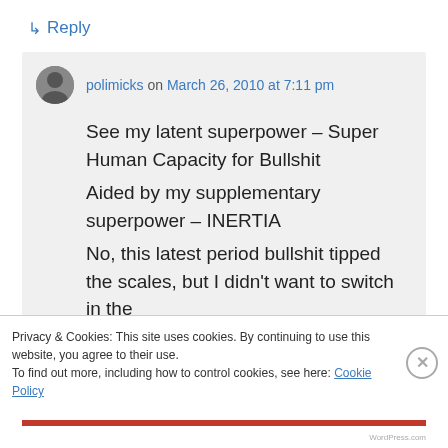↳ Reply
polimicks on March 26, 2010 at 7:11 pm
See my latent superpower – Super Human Capacity for Bullshit
Aided by my supplementary superpower – INERTIA
No, this latest period bullshit tipped the scales, but I didn't want to switch in the
Privacy & Cookies: This site uses cookies. By continuing to use this website, you agree to their use.
To find out more, including how to control cookies, see here: Cookie Policy
Close and accept